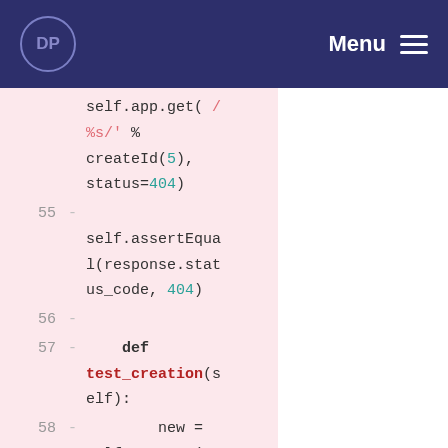DP  Menu
[Figure (screenshot): Code diff viewer showing Python test code lines 55-60, with removed lines (marked with -) on a pink background. Code includes self.app.get, assertEqual, test_creation function definition, new = self.app.get(reverse('new')), form = new.forms[0], form['title'] = 'fake title']